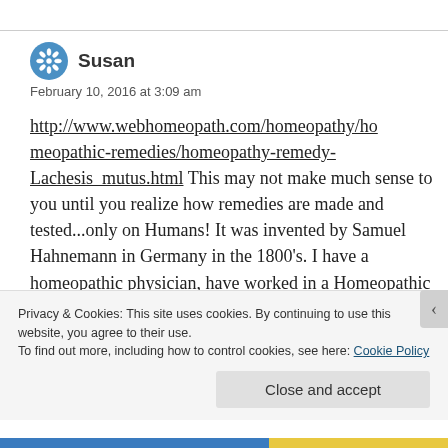Susan
February 10, 2016 at 3:09 am
http://www.webhomeopath.com/homeopathy/homeopathic-remedies/homeopathy-remedy-Lachesis_mutus.html This may not make much sense to you until you realize how remedies are made and tested...only on Humans! It was invented by Samuel Hahnemann in Germany in the 1800's. I have a homeopathic physician, have worked in a Homeopathic Pharmaceutical
Privacy & Cookies: This site uses cookies. By continuing to use this website, you agree to their use.
To find out more, including how to control cookies, see here: Cookie Policy
Close and accept